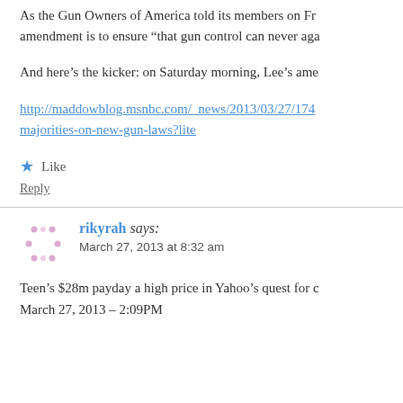As the Gun Owners of America told its members on Fr amendment is to ensure “that gun control can never aga
And here’s the kicker: on Saturday morning, Lee’s ame
http://maddowblog.msnbc.com/_news/2013/03/27/174 majorities-on-new-gun-laws?lite
Like
Reply
rikyrah says:
March 27, 2013 at 8:32 am
Teen’s $28m payday a high price in Yahoo’s quest for c March 27, 2013 – 2:09PM